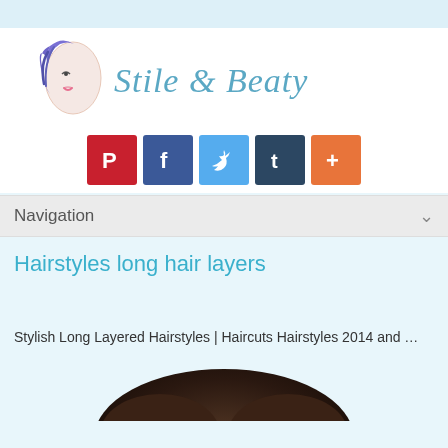[Figure (logo): Stile & Beaty logo with woman's face silhouette and blue-purple hair illustration, with cursive blue text 'Stile & Beaty']
[Figure (infographic): Social media buttons row: Pinterest (red P), Facebook (blue f), Twitter (light blue bird), Tumblr (dark blue t), Plus/Google+ (orange +)]
Navigation
Hairstyles long hair layers
Stylish Long Layered Hairstyles | Haircuts Hairstyles 2014 and …
[Figure (photo): Bottom portion of a photo showing dark brown hair, partially visible at bottom of page]